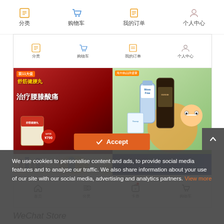[Figure (screenshot): WeChat mini-program store app screenshot showing top navigation icons (分类, 购物车, 我的订单, 个人中心), product banners including a traditional Chinese medicine product and an overseas brand supplement store, and bottom navigation bar (首页, 分类, 卡券, 购物车)]
WeChat Store
We use cookies to personalise content and ads, to provide social media features and to analyse our traffic. We also share information about your use of our site with our social media, advertising and analytics partners. View more